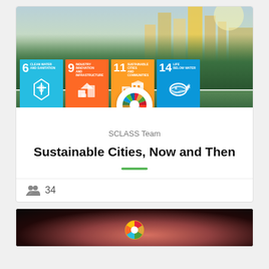[Figure (illustration): Course card with a city park background image, showing SDG icons for goals 6 (Clean Water and Sanitation), 9 (Industry Innovation and Infrastructure), 11 (Sustainable Cities and Communities), 14 (Life Below Water), and an SDG wheel logo centered at the bottom of the image.]
SCLASS Team
Sustainable Cities, Now and Then
34
[Figure (photo): Partial view of a second card with a dark background showing a colorful circular object (SDG pin/badge) held in fingers.]